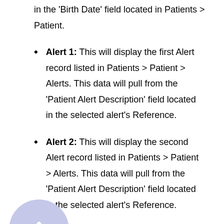in the 'Birth Date' field located in Patients > Patient.
Alert 1: This will display the first Alert record listed in Patients > Patient > Alerts. This data will pull from the 'Patient Alert Description' field located in the selected alert's Reference.
Alert 2: This will display the second Alert record listed in Patients > Patient > Alerts. This data will pull from the 'Patient Alert Description' field located in the selected alert's Reference.
Alert 3: This will display the third Alert record listed in Patients > Patient > Alerts. This data will pull from the 'Patient Alert Description'